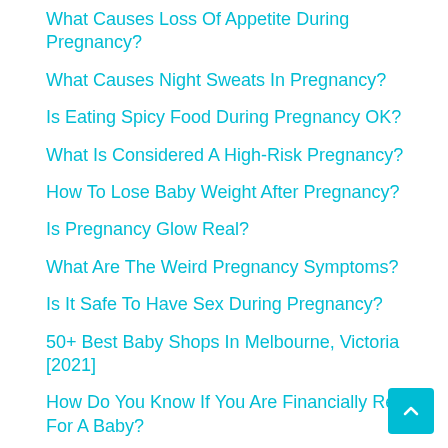What Causes Loss Of Appetite During Pregnancy?
What Causes Night Sweats In Pregnancy?
Is Eating Spicy Food During Pregnancy OK?
What Is Considered A High-Risk Pregnancy?
How To Lose Baby Weight After Pregnancy?
Is Pregnancy Glow Real?
What Are The Weird Pregnancy Symptoms?
Is It Safe To Have Sex During Pregnancy?
50+ Best Baby Shops In Melbourne, Victoria [2021]
How Do You Know If You Are Financially Ready For A Baby?